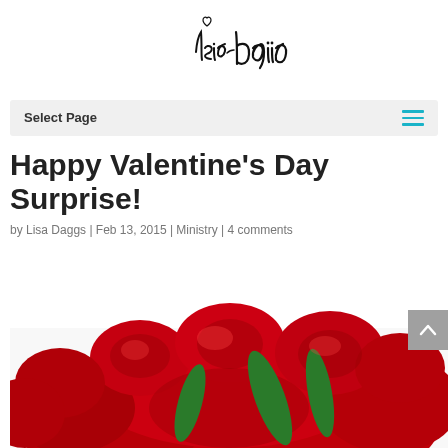[Figure (logo): Handwritten signature logo reading 'Lisa Daggs' with a small heart above]
Select Page
Happy Valentine's Day Surprise!
by Lisa Daggs | Feb 13, 2015 | Ministry | 4 comments
[Figure (photo): A bouquet of red roses with green stems against a white background]